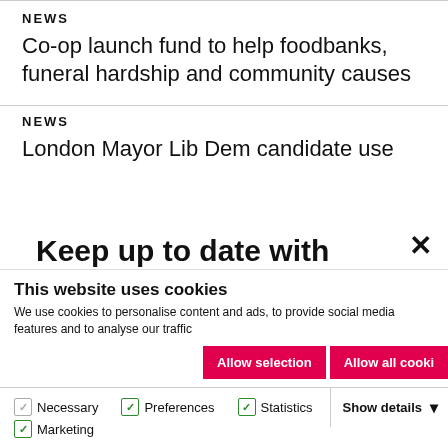NEWS
Co-op launch fund to help foodbanks, funeral hardship and community causes
NEWS
London Mayor Lib Dem candidate use
Keep up to date with the Big Issue. The leading voice on life, politics, culture and social activism direct to
This website uses cookies
We use cookies to personalise content and ads, to provide social media features and to analyse our traffic
Allow selection | Allow all cooki
Necessary  Preferences  Statistics  Marketing  Show details